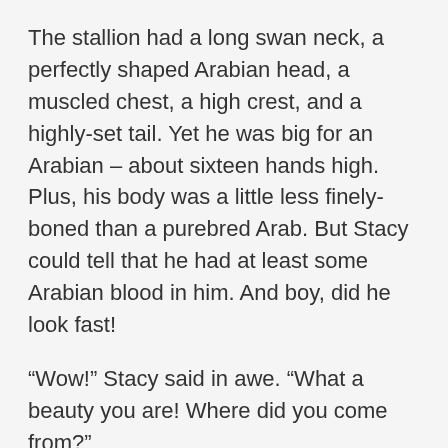The stallion had a long swan neck, a perfectly shaped Arabian head, a muscled chest, a high crest, and a highly-set tail. Yet he was big for an Arabian – about sixteen hands high. Plus, his body was a little less finely-boned than a purebred Arab. But Stacy could tell that he had at least some Arabian blood in him. And boy, did he look fast!
“Wow!” Stacy said in awe. “What a beauty you are! Where did you come from?”
The stallion gave no answer, but without warning, suddenly neighed shrilly and reared up to its full height, then shied away. Frightened, Stacy quickly backed away, then cautiously stood up.
The red stallion flattened his ears into his long, dusty black mane and glared. Stacy suddenly realized: This